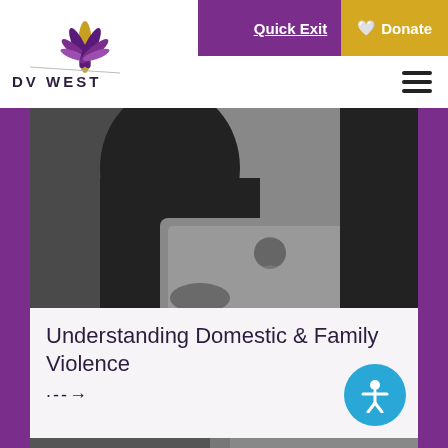[Figure (logo): DV West lotus flower logo with purple and gold petals, text 'DV WEST' below]
Quick Exit   🤍 Donate
[Figure (photo): Black and white photo of a person working on an Apple MacBook laptop, another person visible in background]
Understanding Domestic & Family Violence
·--→
[Figure (photo): Partial black and white photo visible at bottom of page]